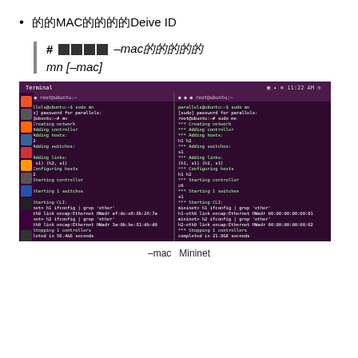的的MAC的的的的Deive ID
# 的的的的–mac的的的的的
mn [–mac]
[Figure (screenshot): Ubuntu Linux terminal window split into two panes showing Mininet with --mac option running side by side. Both panes show sudo mn -mac commands with output including creating network, adding controller, adding hosts, adding switches, adding links, configuring hosts, starting controller, starting switches, starting CLI, ifconfig grep ether results showing MAC addresses, stopping controllers/links/switches/hosts, and completion times (56.4 and 21.8 seconds respectively).]
–mac  Mininet